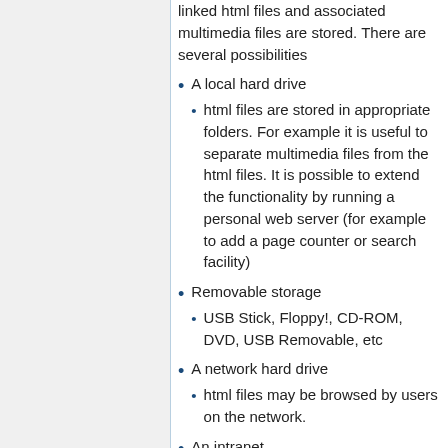linked html files and associated multimedia files are stored. There are several possibilities
A local hard drive
html files are stored in appropriate folders. For example it is useful to separate multimedia files from the html files. It is possible to extend the functionality by running a personal web server (for example to add a page counter or search facility)
Removable storage
USB Stick, Floppy!, CD-ROM, DVD, USB Removable, etc
A network hard drive
html files may be browsed by users on the network.
An intranet